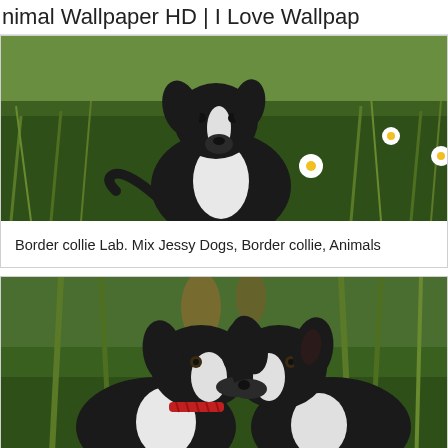Animal Wallpaper HD | I Love Wallpap
[Figure (photo): A black and white Border Collie dog sitting upright in a meadow full of green grass, daisies and wildflowers, looking upward.]
Border collie Lab. Mix Jessy Dogs, Border collie, Animals
[Figure (photo): Two black and white Border Collie dogs facing each other nose-to-nose in a green field. The left dog wears a red collar.]